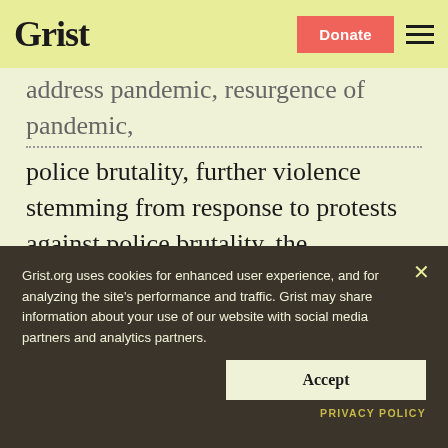Grist | Donate
address pandemic, resurgence of pandemic, police brutality, further violence stemming from response to protests against police brutality, the increasingly apparent incompetence and cruelty of the country's leaders, the impending opportunity to elect new, ostensibly more competent and less cruel leaders, and all the aforementioned
Grist.org uses cookies for enhanced user experience, and for analyzing the site's performance and traffic. Grist may share information about your use of our website with social media partners and analytics partners.
Accept
PRIVACY POLICY